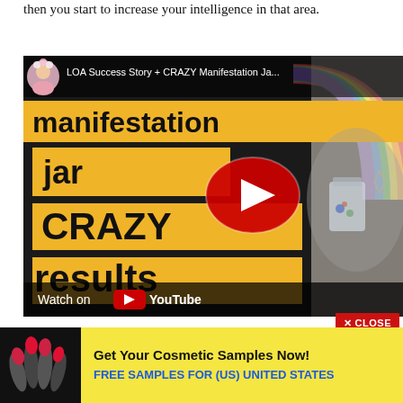then you start to increase your intelligence in that area.
[Figure (screenshot): YouTube video thumbnail showing 'LOA Success Story + CRAZY Manifestation Jar' video with yellow banners reading 'manifestation', 'jar', 'CRAZY', 'results' and a YouTube play button overlay. A woman holds a jar. 'Watch on YouTube' bar at bottom.]
[Figure (screenshot): Close button in red: 'X CLOSE']
[Figure (screenshot): Advertisement banner: 'Get Your Cosmetic Samples Now! FREE SAMPLES FOR (US) UNITED STATES' on yellow background with nail polish image on left.]